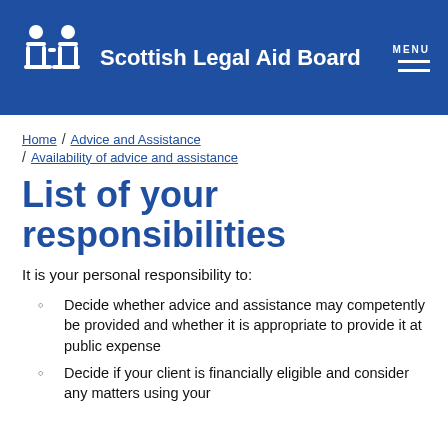Scottish Legal Aid Board
Home / Advice and Assistance / Availability of advice and assistance
List of your responsibilities
It is your personal responsibility to:
Decide whether advice and assistance may competently be provided and whether it is appropriate to provide it at public expense
Decide if your client is financially eligible and consider any matters using your